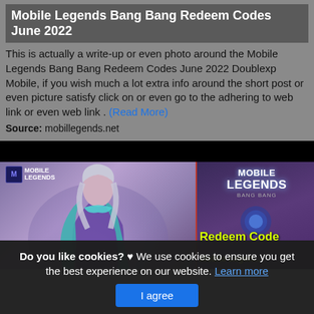Mobile Legends Bang Bang Redeem Codes June 2022
This is actually a write-up or even photo around the Mobile Legends Bang Bang Redeem Codes June 2022 Doublexp Mobile, if you wish much a lot extra info around the short post or even picture satisfy click on or even go to the adhering to web link or even web link . (Read More)
Source: mobillegends.net
[Figure (screenshot): Mobile Legends Bang Bang game promotional image showing a hero character on the left and the Mobile Legends logo with 'Redeem Code' text on the right, against a dark background.]
Do you like cookies? ♥ We use cookies to ensure you get the best experience on our website. Learn more
I agree